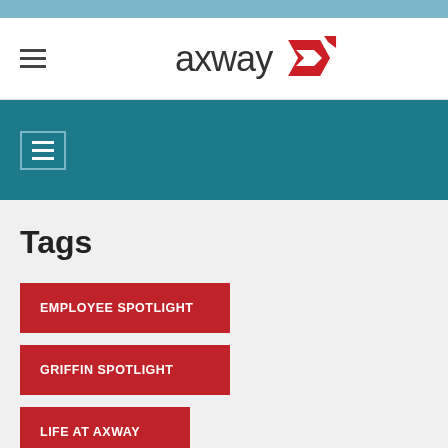[Figure (logo): Axway company logo with text 'axway' and red arrow icon, shown in white header bar with hamburger menu icon]
[Figure (screenshot): Teal navigation bar with white hamburger menu button (three horizontal lines in bordered box)]
Tags
EMPLOYEE SPOTLIGHT
GRIFFIN SPOTLIGHT
LIFE AT AXWAY